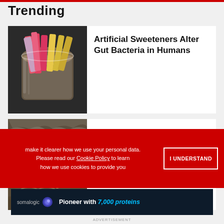Trending
[Figure (photo): Jar filled with colorful artificial sweetener packets (pink, yellow) on dark background]
Artificial Sweeteners Alter Gut Bacteria in Humans
[Figure (photo): Ancient human skeleton/bones partially excavated, gray-brown fossil appearance]
7,200-Year-Old Skeleton Offers Clues to Early Human Migration
make it clearer how we use your personal data. Please read our Cookie Policy to learn how we use cookies to provide you
I UNDERSTAND
[Figure (screenshot): Somalogic advertisement: Pioneer with 7,000 proteins on dark background]
ADVERTISEMENT